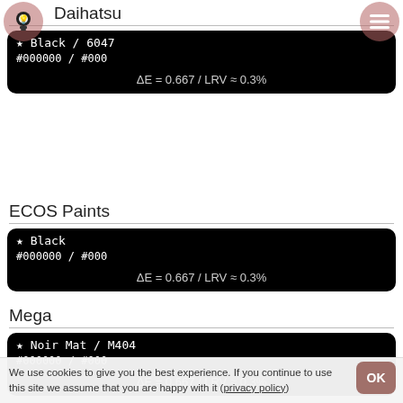Daihatsu
★ Black / 6047
#000000 / #000
ΔE = 0.667 / LRV ≈ 0.3%
ECOS Paints
★ Black
#000000 / #000
ΔE = 0.667 / LRV ≈ 0.3%
Mega
★ Noir Mat / M404
#000000 / #000
ΔE = 0.667 / LRV ≈ 0.3%
Coo-Var
★ Black
#000000 / #000
We use cookies to give you the best experience. If you continue to use this site we assume that you are happy with it (privacy policy)